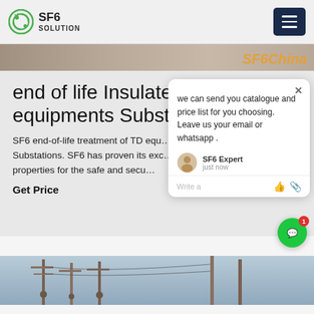SF6 SOLUTION
[Figure (photo): Top banner image of industrial SF6 equipment with text 'SF6 China' in orange]
end of life Insulated gas equipments Substa…
SF6 end-of-life treatment of TD equ… in Substations. SF6 has proven its exc… ric properties for the safe and secu…
Get Price
[Figure (screenshot): Chat popup widget with message: we can send you catalogue and price list for you choosing. Leave us your email or whatsapp. SF6 Expert - just now. Write a message input box.]
[Figure (photo): Bottom partial image of electrical substation towers and power lines against sky]